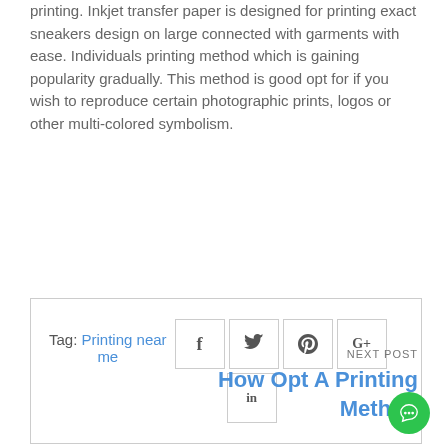printing. Inkjet transfer paper is designed for printing exact sneakers design on large connected with garments with ease. Individuals printing method which is gaining popularity gradually. This method is good opt for if you wish to reproduce certain photographic prints, logos or other multi-colored symbolism.
Tag: Printing near me
[Figure (other): Social sharing icons: Facebook (f), Twitter (bird), Pinterest (p), Google+ (G+), LinkedIn (in)]
NEXT POST
How Opt A Printing Method